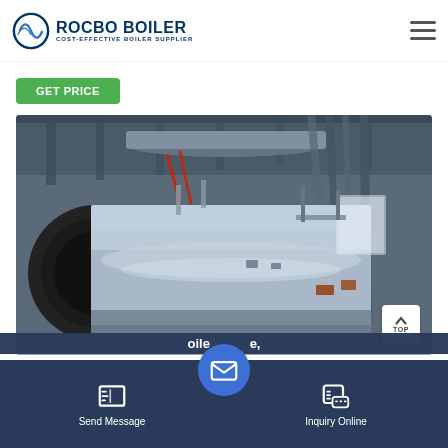ROCBO BOILER — COST-EFFECTIVE BOILER SUPPLIER
Get Price
[Figure (photo): Industrial boiler facility interior showing a large horizontal cylindrical steam boiler with stainless steel cladding and black end cap, surrounded by pipes and structural steel in an industrial warehouse setting.]
Send Message | Inquiry Online